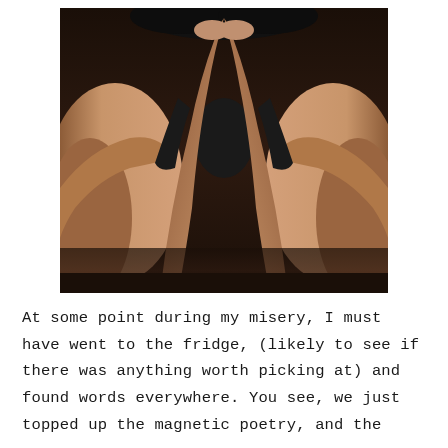[Figure (photo): A close-up photograph of a person's legs drawn up toward their chest with arms/hands clasped around the knees, viewed from above. The person is wearing a dark bra. Background is dark/shadowed.]
At some point during my misery, I must have went to the fridge, (likely to see if there was anything worth picking at) and found words everywhere. You see, we just topped up the magnetic poetry, and the